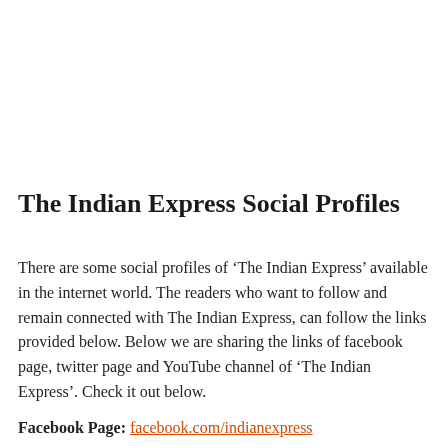The Indian Express Social Profiles
There are some social profiles of ‘The Indian Express’ available in the internet world. The readers who want to follow and remain connected with The Indian Express, can follow the links provided below. Below we are sharing the links of facebook page, twitter page and YouTube channel of ‘The Indian Express’. Check it out below.
Facebook Page: facebook.com/indianexpress